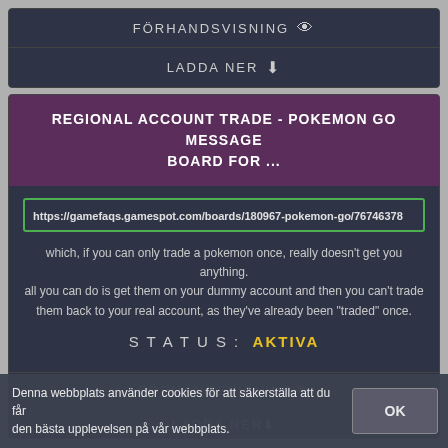FÖRHANDSVISNING
LADDA NER
REGIONAL ACCOUNT TRADE - POKEMON GO MESSAGE BOARD FOR ...
https://gamefaqs.gamespot.com/boards/180967-pokemon-go/76746378
which, if you can only trade a pokemon once, really doesn't get you anything. all you can do is get them on your dummy account and then you can't trade them back to your real account, as they've already been "traded" once.
STATUS: AKTIVA
FÖRHANDSVISNING
LADDA NER
Denna webbplats använder cookies för att säkerställa att du får den bästa upplevelsen på vår webbplats.